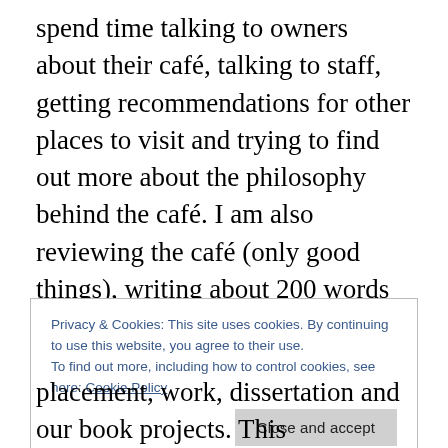spend time talking to owners about their café, talking to staff, getting recommendations for other places to visit and trying to find out more about the philosophy behind the café. I am also reviewing the café (only good things), writing about 200 words on each one. This was difficult for me at first; having not really written anything for a commercial purpose before, but it is much easier now, and I have developed an enthusiasm for writing. Most people are fine with me wandering about with a camera; however, I've been met with suspicion by some others, wanting to know about who I work for – playing the student card
Privacy & Cookies: This site uses cookies. By continuing to use this website, you agree to their use.
To find out more, including how to control cookies, see here: Cookie Policy
placement, work, dissertation and our book projects. This